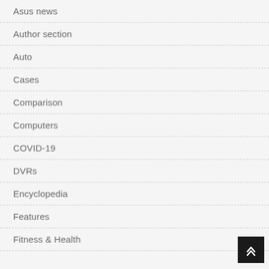Asus news
Author section
Auto
Cases
Comparison
Computers
COVID-19
DVRs
Encyclopedia
Features
Fitness & Health